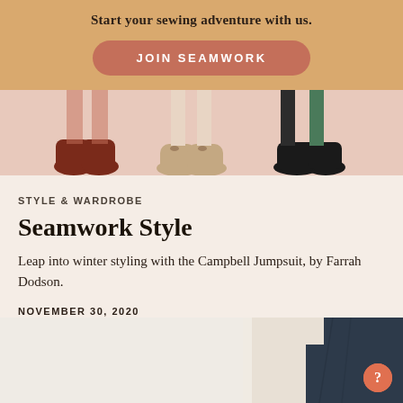Start your sewing adventure with us.
[Figure (illustration): Button with text JOIN SEAMWORK on orange/tan background]
[Figure (illustration): Illustrated feet with various shoes on pink background strip]
STYLE & WARDROBE
Seamwork Style
Leap into winter styling with the Campbell Jumpsuit, by Farrah Dodson.
NOVEMBER 30, 2020
[Figure (photo): Partial photo of person wearing denim jumpsuit, bottom of page]